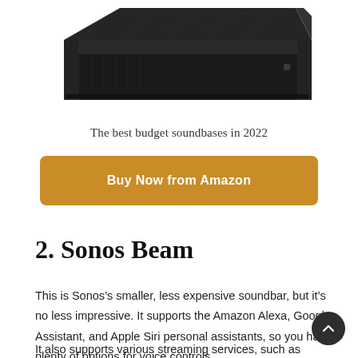[Figure (photo): Black soundbar/soundbase product photo, partially cropped at top of page, showing a flat rectangular black audio device viewed from a slight angle]
The best budget soundbases in 2022
Buy Now from Amazon
2. Sonos Beam
This is Sonos’s smaller, less expensive soundbar, but it’s no less impressive. It supports the Amazon Alexa, Google Assistant, and Apple Siri personal assistants, so you have plenty of options for voice controls.
It also supports various streaming services, such as